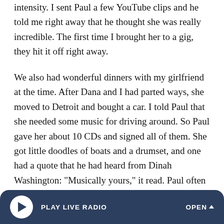intensity. I sent Paul a few YouTube clips and he told me right away that he thought she was really incredible. The first time I brought her to a gig, they hit it off right away.
We also had wonderful dinners with my girlfriend at the time. After Dana and I had parted ways, she moved to Detroit and bought a car. I told Paul that she needed some music for driving around. So Paul gave her about 10 CDs and signed all of them. She got little doodles of boats and a drumset, and one had a quote that he had heard from Dinah Washington: "Musically yours," it read. Paul often asked how Dana was; before Dana met me, she had never even heard of Paul Motian, and yet they became great and real friends.
PLAY LIVE RADIO   OPEN